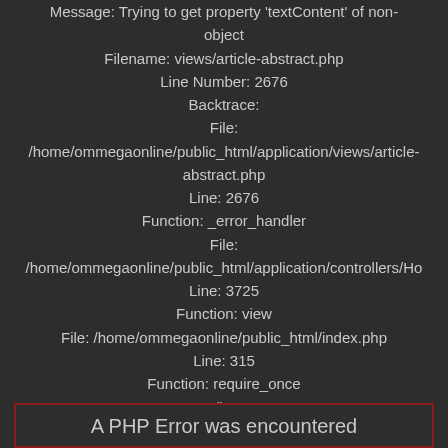Message: Trying to get property 'textContent' of non-object
Filename: views/article-abstract.php
Line Number: 2676
Backtrace:
File:
/home/ommegaonline/public_html/application/views/article-abstract.php
Line: 2676
Function: _error_handler
File:
/home/ommegaonline/public_html/application/controllers/Ho
Line: 3725
Function: view
File: /home/ommegaonline/public_html/index.php
Line: 315
Function: require_once
">
A PHP Error was encountered